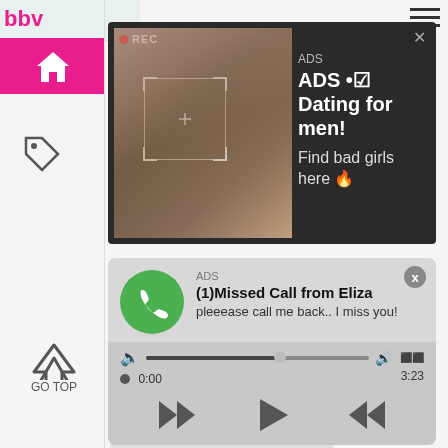bbv
[Figure (screenshot): Dark ad popup showing a woman taking a selfie with REC indicator, face detection brackets, and text: ADS • Dating for men! Find bad girls here]
[Figure (screenshot): Ad popup styled as missed call notification: (1)Missed Call from Eliza - pleeease call me back.. I miss you! with audio player controls showing 0:00 to 3:23]
theporn.cam
teenporn.work
GO TOP